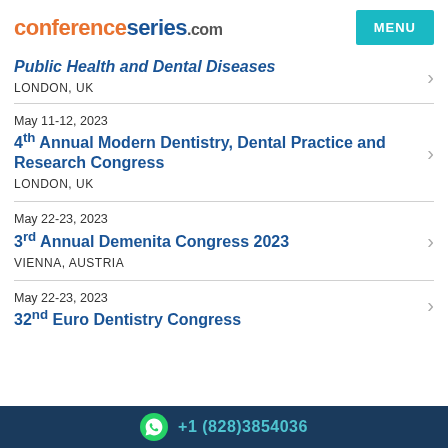conferenceseries.com
Public Health and Dental Diseases
LONDON, UK
May 11-12, 2023
4th Annual Modern Dentistry, Dental Practice and Research Congress
LONDON, UK
May 22-23, 2023
3rd Annual Demenita Congress 2023
VIENNA, AUSTRIA
May 22-23, 2023
32nd Euro Dentistry Congress
+1 (828)3854036